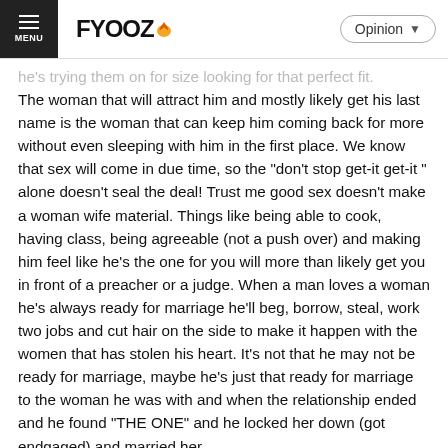FYOOZ | Opinion
he's trying them on for size looking for that perfect fit. The woman that will attract him and mostly likely get his last name is the woman that can keep him coming back for more without even sleeping with him in the first place. We know that sex will come in due time, so the "don't stop get-it get-it " alone doesn't seal the deal! Trust me good sex doesn't make a woman wife material. Things like being able to cook, having class, being agreeable (not a push over) and making him feel like he's the one for you will more than likely get you in front of a preacher or a judge. When a man loves a woman he's always ready for marriage he'll beg, borrow, steal, work two jobs and cut hair on the side to make it happen with the women that has stolen his heart. It's not that he may not be ready for marriage, maybe he's just that ready for marriage to the woman he was with and when the relationship ended and he found "THE ONE" and he locked her down (got endgaged) and married her.
Like or Dislike: 0 or 0 (0)
Reply to this comment